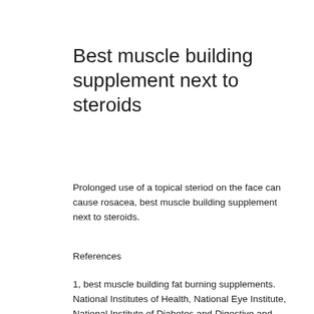Best muscle building supplement next to steroids
Prolonged use of a topical steriod on the face can cause rosacea, best muscle building supplement next to steroids.
References
1, best muscle building fat burning supplements. National Institutes of Health, National Eye Institute, National Institute of Diabetes and Digestive and Kidney Diseases, and American Academy of Dermatology, best muscle building supplement in the world. Dietary Dietary